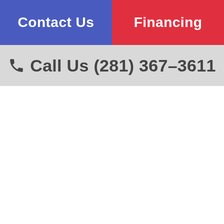Contact Us | Financing
Call Us (281) 367-3611